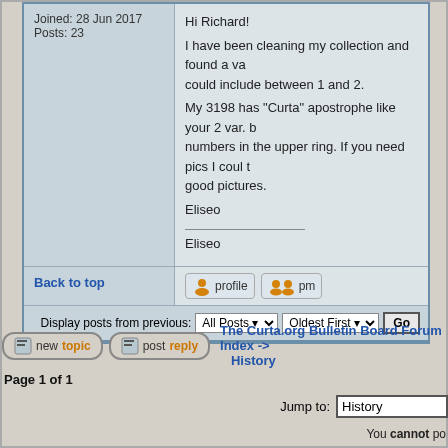Joined: 28 Jun 2017
Posts: 23
Hi Richard!
I have been cleaning my collection and found a va... could include between 1 and 2.
My 3198 has "Curta" apostrophe like your 2 var. b... numbers in the upper ring. If you need pics I coul t... good pictures.
Eliseo
___________
Eliseo
Back to top
Display posts from previous:  All Posts   Oldest First   Go
The Curta.org Bulletin Board Forum Index -> History
Page 1 of 1
Jump to:  History
You cannot po...
You cannot r...
You cannot e...
You cannot dele...
You cannot...
Powered by phpBB © 2001, 2005 phpBB Group